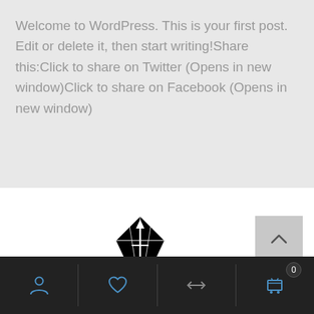Welcome to WordPress. This is your first post. Edit or delete it, then start writing!Share this:Click to share on Twitter (Opens in new window)Click to share on Facebook (Opens in new window)
[Figure (logo): Black diamond logo with a sword/dagger inside, surrounded by sparkle/star decorative elements]
[Figure (screenshot): Bottom navigation bar with user icon, heart/wishlist icon, compare icon, and cart icon with badge showing 0]